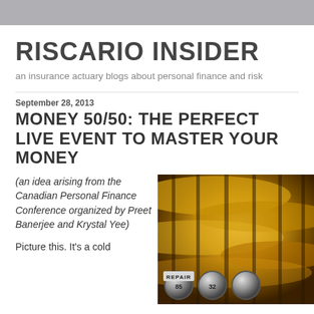RISCARIO INSIDER
an insurance actuary blogs about personal finance and risk
September 28, 2013
MONEY 50/50: THE PERFECT LIVE EVENT TO MASTER YOUR MONEY
(an idea arising from the Canadian Personal Finance Conference organized by Preet Banerjee and Krystal Yee)
[Figure (photo): Close-up photo of golden/brass typewriter keys including a 'REPAIR' key and numbered keys, with a dark background showing circular key tops.]
Picture this. It's a cold